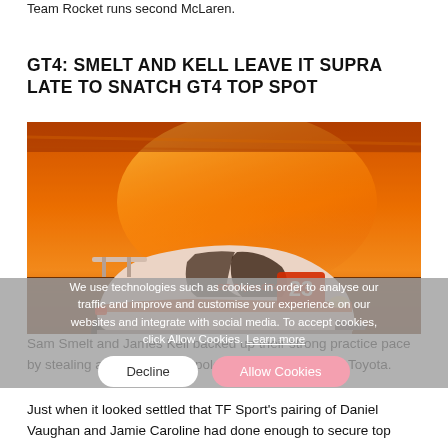Team Rocket runs second McLaren.
GT4: SMELT AND KELL LEAVE IT SUPRA LATE TO SNATCH GT4 TOP SPOT
[Figure (photo): A Toyota GR Supra GT4 race car number 23 in Speedworks livery on track, bathed in dramatic orange sunset light with motion blur in the background.]
Sam Smelt and James Kell backed up their strong practice pace by stealing a last-gasp GT4 pole for Speedworks and Toyota.
Just when it looked settled that TF Sport's pairing of Daniel Vaughan and Jamie Caroline had done enough to secure top